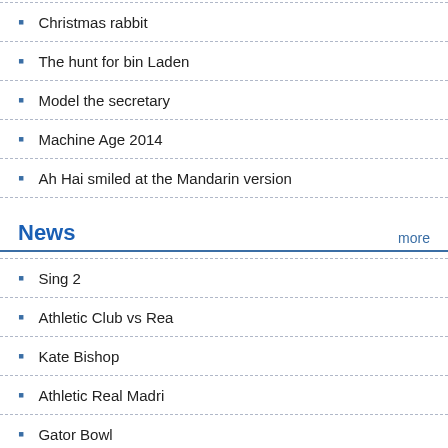Christmas rabbit
The hunt for bin Laden
Model the secretary
Machine Age 2014
Ah Hai smiled at the Mandarin version
News
Sing 2
Athletic Club vs Rea
Kate Bishop
Athletic Real Madri
Gator Bowl
Joni Mitchell